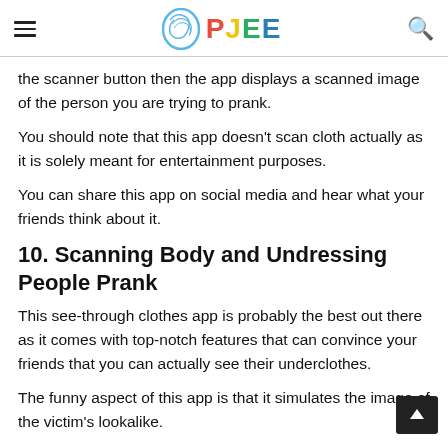PJEE
the scanner button then the app displays a scanned image of the person you are trying to prank.
You should note that this app doesn't scan cloth actually as it is solely meant for entertainment purposes.
You can share this app on social media and hear what your friends think about it.
10. Scanning Body and Undressing People Prank
This see-through clothes app is probably the best out there as it comes with top-notch features that can convince your friends that you can actually see their underclothes.
The funny aspect of this app is that it simulates the image of the victim's lookalike.